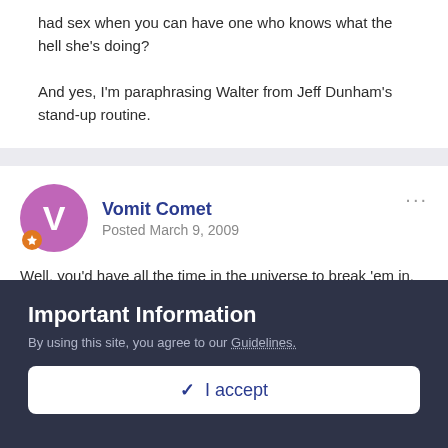had sex when you can have one who knows what the hell she's doing?
And yes, I'm paraphrasing Walter from Jeff Dunham's stand-up routine.
Vomit Comet
Posted March 9, 2009
Well, you'd have all the time in the universe to break 'em in.
I mean, shit, 72 sexy young women. Seventy-two.
Warning: y'all should know what the black-out indicates...
Important Information
By using this site, you agree to our Guidelines.
✓  I accept